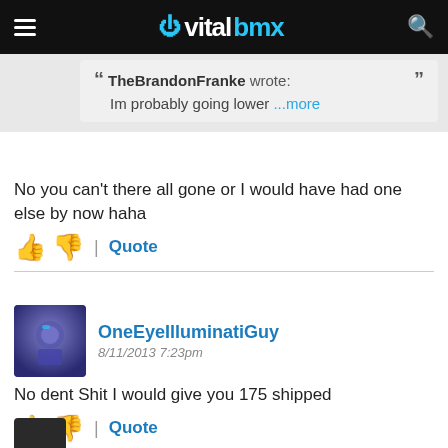vitalbmx
TheBrandonFranke wrote: Im probably going lower ...more
No you can't there all gone or I would have had one else by now haha
| Quote
OneEyeIlluminatiGuy 8/11/2013 7:23pm
No dent Shit I would give you 175 shipped
| Quote